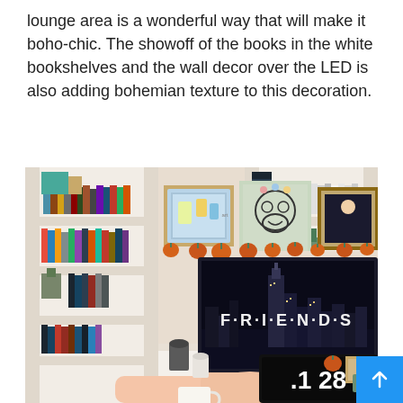lounge area is a wonderful way that will make it boho-chic. The showoff of the books in the white bookshelves and the wall decor over the LED is also adding bohemian texture to this decoration.
[Figure (photo): A cozy living room with white built-in bookshelves on both sides filled with books, three framed artworks on the wall, small orange pumpkins decorating the shelf below the art, a large flat-screen TV showing the Friends TV show title screen with a New York City skyline, and in the foreground a person's feet resting on a table with a digital clock showing 1:28 on a tablet/laptop.]